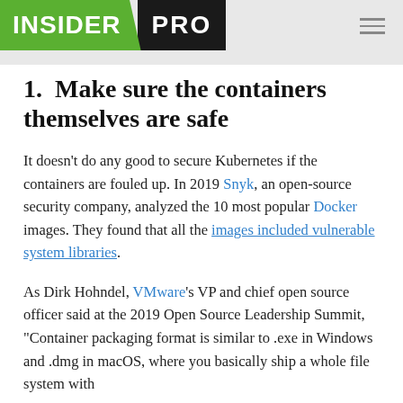INSIDER PRO
1.  Make sure the containers themselves are safe
It doesn't do any good to secure Kubernetes if the containers are fouled up. In 2019 Snyk, an open-source security company, analyzed the 10 most popular Docker images. They found that all the images included vulnerable system libraries.
As Dirk Hohndel, VMware's VP and chief open source officer said at the 2019 Open Source Leadership Summit, "Container packaging format is similar to .exe in Windows and .dmg in macOS, where you basically ship a whole file system with